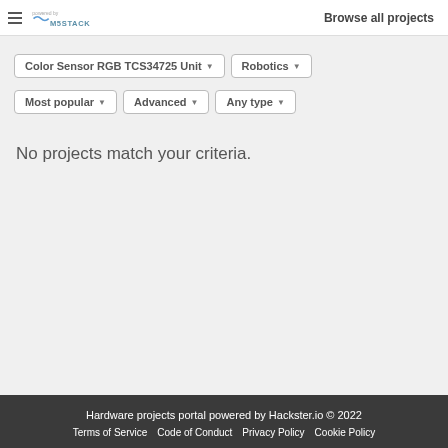Browse all projects
Color Sensor RGB TCS34725 Unit ▾   Robotics ▾   Most popular ▾   Advanced ▾   Any type ▾
No projects match your criteria.
Hardware projects portal powered by Hackster.io © 2022  Terms of Service  Code of Conduct  Privacy Policy  Cookie Policy